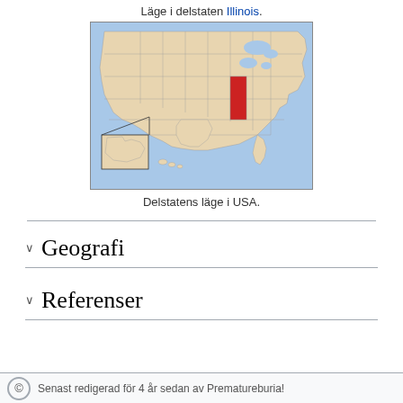Läge i delstaten Illinois.
[Figure (map): Map of the United States with Illinois highlighted in red, showing the state's location within the USA. Insets for Alaska and Hawaii are visible.]
Delstatens läge i USA.
Geografi
Referenser
Senast redigerad för 4 år sedan av Prematureburia!